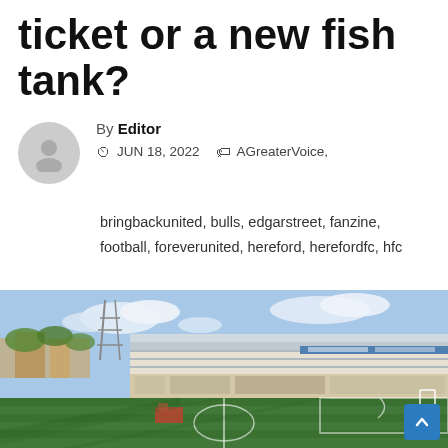ticket or a new fish tank?
By Editor
JUN 18, 2022  AGreaterVoice, bringbackunited, bulls, edgarstreet, fanzine, football, foreverunited, hereford, herefordfc, hfc
[Figure (photo): Aerial view of a football stadium (Edgar Street) with green pitch and main stand visible under blue sky]